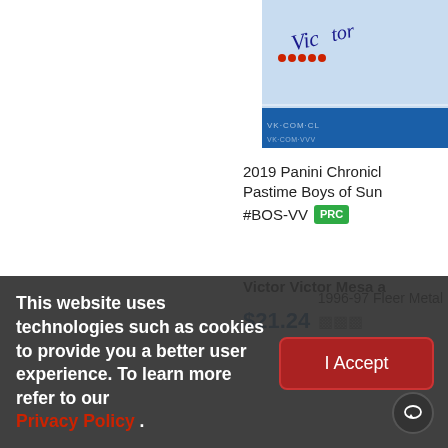[Figure (photo): Top portion of a sports trading card showing a signature and blue/red design elements, partially cropped on the right side]
2019 Panini Chronicle Pastime Boys of Sum #BOS-VV PRC
Victor Victor Mesa a
$21.24
[Figure (photo): Basketball trading card showing a player in a red Bulls jersey shooting a basketball, partially cropped]
1996-97 Fleer Metal
This website uses technologies such as cookies to provide you a better user experience. To learn more refer to our Privacy Policy .
I Accept